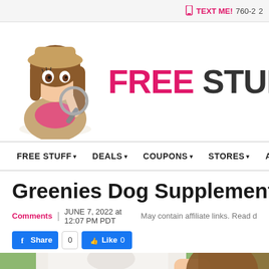TEXT ME! 760-2...
[Figure (logo): Free Stuff Finder website logo — cartoon girl with magnifying glass and text FREE STUFF FINDER]
FREE STUFF ▾   DEALS ▾   COUPONS ▾   STORES ▾   AD
Greenies Dog Supplements $8...
Comments | JUNE 7, 2022 at 12:07 PM PDT   May contain affiliate links. Read d...
Share 0   Like 0
[Figure (photo): Product photo showing a person in a white shirt holding a Greenies dog supplement product, with green grass in the background]